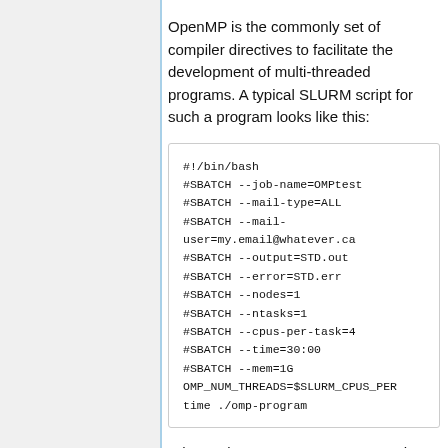OpenMP is the commonly set of compiler directives to facilitate the development of multi-threaded programs. A typical SLURM script for such a program looks like this:
#!/bin/bash
#SBATCH --job-name=OMPtest
#SBATCH --mail-type=ALL
#SBATCH --mail-user=my.email@whatever.ca
#SBATCH --output=STD.out
#SBATCH --error=STD.err
#SBATCH --nodes=1
#SBATCH --ntasks=1
#SBATCH --cpus-per-task=4
#SBATCH --time=30:00
#SBATCH --mem=1G
OMP_NUM_THREADS=$SLURM_CPUS_PER...
time ./omp-program
When using an OpenMP program, the